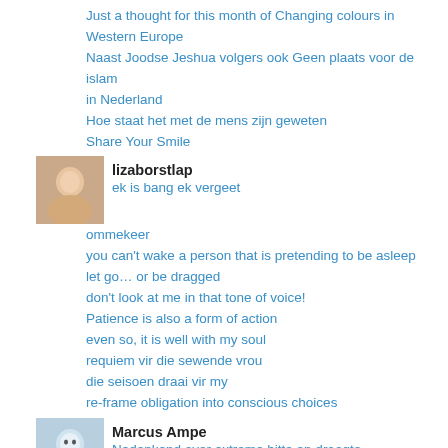Just a thought for this month of Changing colours in Western Europe
Naast Joodse Jeshua volgers ook Geen plaats voor de islam in Nederland
Hoe staat het met de mens zijn geweten
Share Your Smile
lizaborstlap
ek is bang ek vergeet
ommekeer
you can't wake a person that is pretending to be asleep
let go… or be dragged
don't look at me in that tone of voice!
Patience is also a form of action
even so, it is well with my soul
requiem vir die sewende vrou
die seisoen draai vir my
re-frame obligation into conscious choices
Marcus Ampe
Nadenkend over extreme hitte en droogte
Vakantietijd in 2022
For those who say Jesus words do not make sense